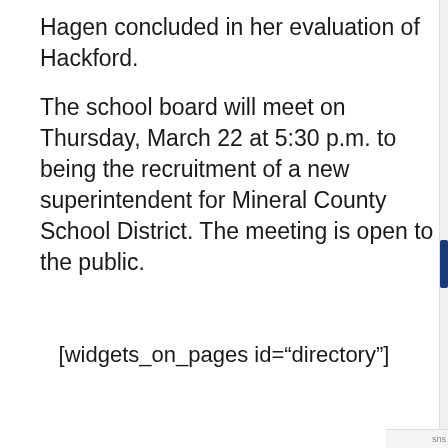Hagen concluded in her evaluation of Hackford.
The school board will meet on Thursday, March 22 at 5:30 p.m. to being the recruitment of a new superintendent for Mineral County School District. The meeting is open to the public.
[widgets_on_pages id="directory"]